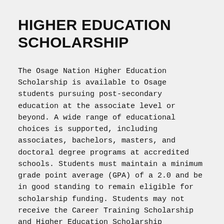HIGHER EDUCATION SCHOLARSHIP
The Osage Nation Higher Education Scholarship is available to Osage students pursuing post-secondary education at the associate level or beyond. A wide range of educational choices is supported, including associates, bachelors, masters, and doctoral degree programs at accredited schools. Students must maintain a minimum grade point average (GPA) of a 2.0 and be in good standing to remain eligible for scholarship funding. Students may not receive the Career Training Scholarship and Higher Education Scholarship simultaneously.